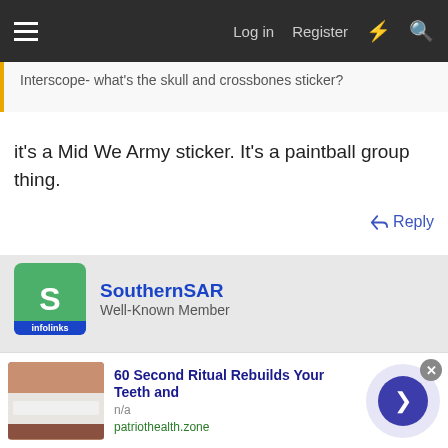Log in  Register
Interscope- what's the skull and crossbones sticker?
it's a Mid We Army sticker. It's a paintball group thing.
Reply
[Figure (screenshot): Gray advertisement area placeholder]
SouthernSAR
Well-Known Member
[Figure (infographic): Ad overlay: '60 Second Ritual Rebuilds Your Teeth and' with image of teeth, n/a, patriothealth.zone, close button, and arrow button]